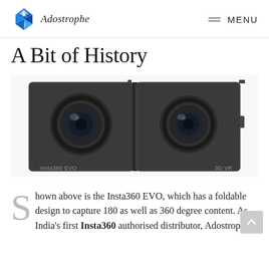Adostrophe  MENU
A Bit of History
[Figure (photo): Insta360 EVO camera shown unfolded flat, displaying two wide-angle lenses side by side on a dual-panel foldable black body. Text on the device reads 'Insta360 EVO' on the left panel and '3D VR' on the right panel.]
Shown above is the Insta360 EVO, which has a foldable design to capture 180 as well as 360 degree content. As India's first Insta360 authorised distributor, Adostrophe